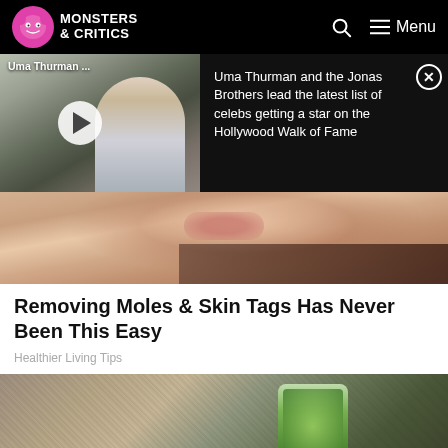MONSTERS & CRITICS
[Figure (screenshot): Notification banner showing video thumbnail of Uma Thurman with play button, and text about Hollywood Walk of Fame]
Uma Thurman ...
Uma Thurman and the Jonas Brothers lead the latest list of celebs getting a star on the Hollywood Walk of Fame
[Figure (photo): Close-up photo of a person applying something near their face/chin area with dark hair visible]
Removing Moles & Skin Tags Has Never Been This Easy
Healthier Living Tips
[Figure (photo): Close-up photo of a green juice or smoothie in a glass jar on a textured surface]